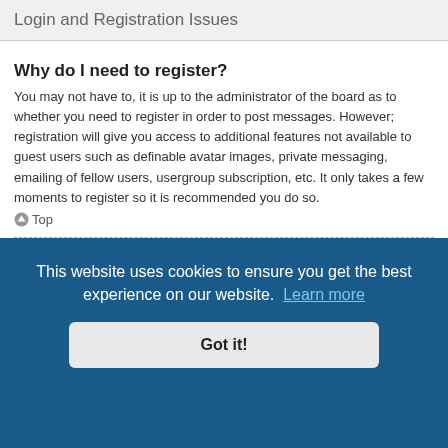Login and Registration Issues
Why do I need to register?
You may not have to, it is up to the administrator of the board as to whether you need to register in order to post messages. However; registration will give you access to additional features not available to guest users such as definable avatar images, private messaging, emailing of fellow users, usergroup subscription, etc. It only takes a few moments to register so it is recommended you do so.
Top
What is COPPA?
COPPA, or the Children's Online Privacy Protection Act of 1998, is a law in the United States requiring websites which can potentially collect information from minors under the age of 13 to have written parental consent or some other method of legal guardian acknowledgment, allowing the collection of personally identifiable information from a minor under the age of 13. If you are unsure if this applies to you as someone trying to register or to the website you are trying to register on, contact legal counsel for assistance. Please note that phpBB Limited and the owners of this board cannot provide legal advice and is not a point of contact...
[Figure (other): Cookie consent banner overlay with text 'This website uses cookies to ensure you get the best experience on our website.' with 'Learn more' link and 'Got it!' button]